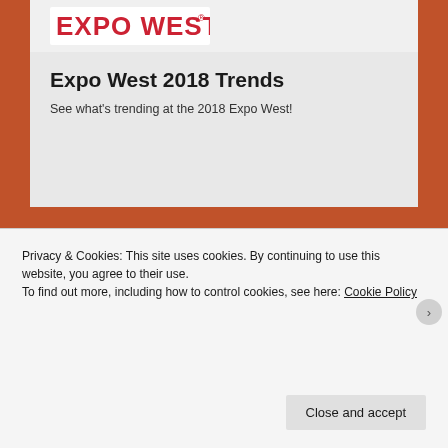[Figure (logo): Expo West logo with red text on white background]
Expo West 2018 Trends
See what’s trending at the 2018 Expo West!
When the SHIFT Hits the Fan, with Chef Wiley Bates III
Privacy & Cookies: This site uses cookies. By continuing to use this website, you agree to their use.
To find out more, including how to control cookies, see here: Cookie Policy
Close and accept